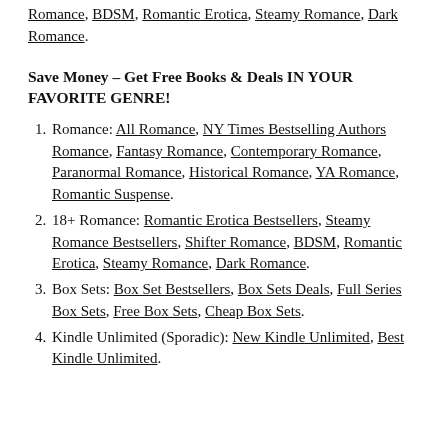Romance, BDSM, Romantic Erotica, Steamy Romance, Dark Romance.
Save Money – Get Free Books & Deals IN YOUR FAVORITE GENRE!
Romance: All Romance, NY Times Bestselling Authors Romance, Fantasy Romance, Contemporary Romance, Paranormal Romance, Historical Romance, YA Romance, Romantic Suspense.
18+ Romance: Romantic Erotica Bestsellers, Steamy Romance Bestsellers, Shifter Romance, BDSM, Romantic Erotica, Steamy Romance, Dark Romance.
Box Sets: Box Set Bestsellers, Box Sets Deals, Full Series Box Sets, Free Box Sets, Cheap Box Sets.
Kindle Unlimited (Sporadic): New Kindle Unlimited, Best Kindle Unlimited.